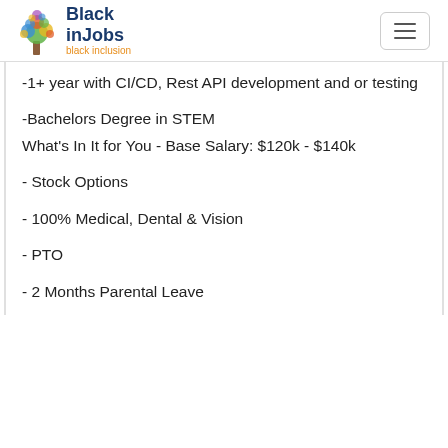BlackinJobs - black inclusion
-1+ year with CI/CD, Rest API development and or testing
-Bachelors Degree in STEM
What's In It for You - Base Salary: $120k - $140k
- Stock Options
- 100% Medical, Dental & Vision
- PTO
- 2 Months Parental Leave